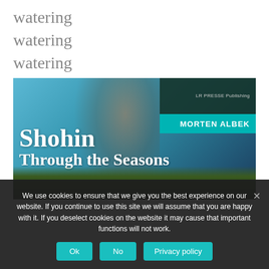watering
watering
watering
watering
[Figure (photo): Book cover for 'Shohin Through the Seasons' by Morten Albek, published by LR PRESSE Publishing. Shows a blurred person working with a bonsai plant, with blue and teal background colors and green foliage at the bottom.]
We use cookies to ensure that we give you the best experience on our website. If you continue to use this site we will assume that you are happy with it. If you deselect cookies on the website it may cause that important functions will not work.